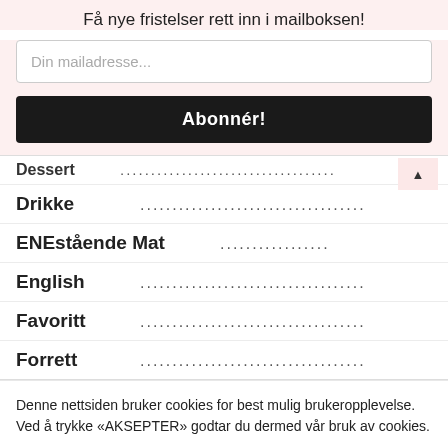Få nye fristelser rett inn i mailboksen!
Din mailadresse...
Abonnér!
Dessert ....................................
Drikke ....................................
ENEstående Mat ....................................
English ....................................
Favoritt ....................................
Forrett ....................................
Denne nettsiden bruker cookies for best mulig brukeropplevelse. Ved å trykke «AKSEPTER» godtar du dermed vår bruk av cookies.
Cookie instillinger
AKSEPTER